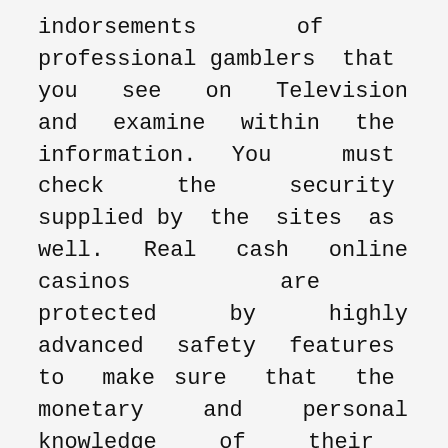indorsements of professional gamblers that you see on Television and examine within the information. You must check the security supplied by the sites as well. Real cash online casinos are protected by highly advanced safety features to make sure that the monetary and personal knowledge of their thespians is stored safely protected.
Be careful of unfamiliar, small, online casinos. You'll discover that online casinos have higher jackpots and extra attractive incentives to join. 1 2600 Adapter to allow some Atari 2600 cartridges which have